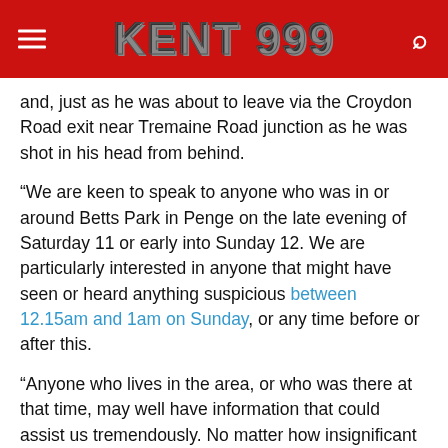KENT 999
and, just as he was about to leave via the Croydon Road exit near Tremaine Road junction as he was shot in his head from behind.
“We are keen to speak to anyone who was in or around Betts Park in Penge on the late evening of Saturday 11 or early into Sunday 12. We are particularly interested in anyone that might have seen or heard anything suspicious between 12.15am and 1am on Sunday, or any time before or after this.
“Anyone who lives in the area, or who was there at that time, may well have information that could assist us tremendously. No matter how insignificant it may seem, we urge you to please get in touch.”